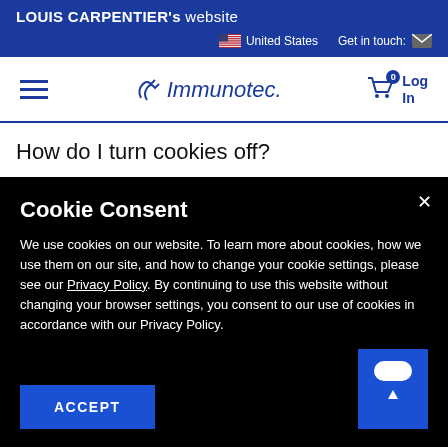LOUIS CARPENTIER's website
🇺🇸 United States   Get in touch: ✉
[Figure (screenshot): Immunotec logo with navigation hamburger menu, cart icon with badge 0, and Log In link]
How do I turn cookies off?
Cookie Consent

We use cookies on our website. To learn more about cookies, how we use them on our site, and how to change your cookie settings, please see our Privacy Policy. By continuing to use this website without changing your browser settings, you consent to our use of cookies in accordance with our Privacy Policy.

ACCEPT